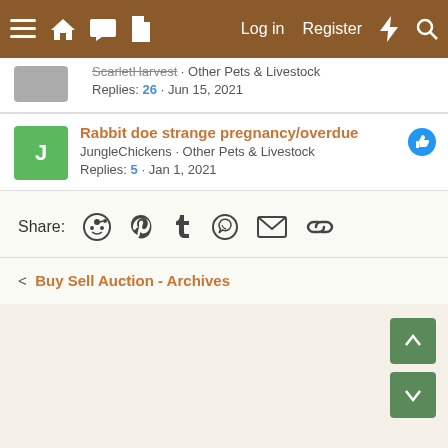Navigation bar with menu, home, chat, document icons on left; Log in, Register, lightning, search on right
ScarletHarvest · Other Pets & Livestock
Replies: 26 · Jun 15, 2021
Rabbit doe strange pregnancy/overdue
JungleChickens · Other Pets & Livestock
Replies: 5 · Jan 1, 2021
Share:
< Buy Sell Auction - Archives